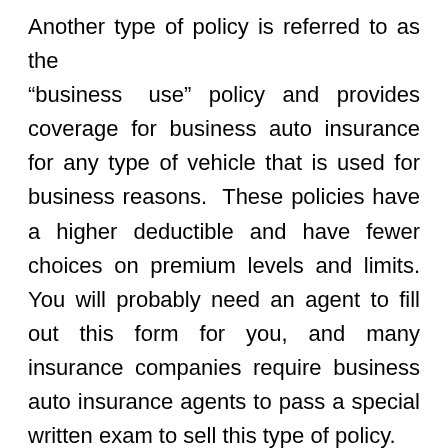Another type of policy is referred to as the “business use” policy and provides coverage for business auto insurance for any type of vehicle that is used for business reasons. These policies have a higher deductible and have fewer choices on premium levels and limits. You will probably need an agent to fill out this form for you, and many insurance companies require business auto insurance agents to pass a special written exam to sell this type of policy.

You should consider getting liability and/or